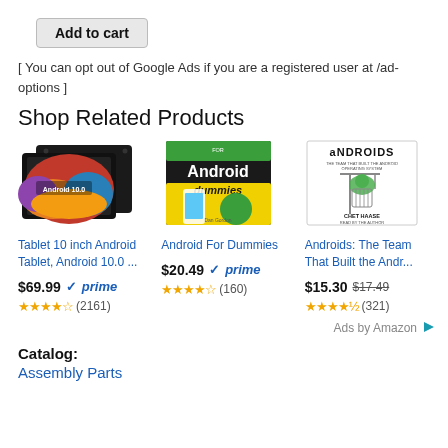Add to cart
[ You can opt out of Google Ads if you are a registered user at /ad-options ]
Shop Related Products
[Figure (photo): Tablet 10 inch Android product image showing black tablet with colorful Android 10.0 screen]
Tablet 10 inch Android Tablet, Android 10.0 ...
$69.99 prime (2161) 3.5 stars
[Figure (photo): Android For Dummies book cover - black and yellow with Android mascot]
Android For Dummies
$20.49 prime (160) 4 stars
[Figure (photo): Androids: The Team That Built the Android Operating System book cover - white with crane and alien illustration]
Androids: The Team That Built the Andr...
$15.30 $17.49 (321) 4.5 stars
Ads by Amazon
Catalog:
Assembly Parts